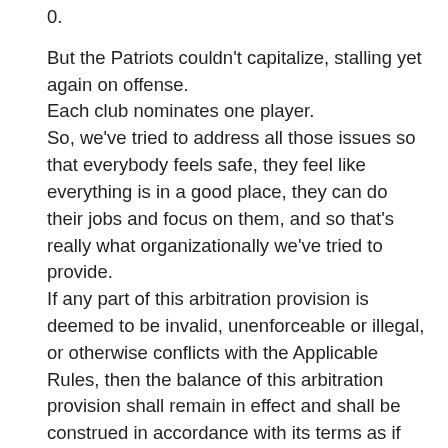0.
But the Patriots couldn't capitalize, stalling yet again on offense.
Each club nominates one player.
So, we've tried to address all those issues so that everybody feels safe, they feel like everything is in a good place, they can do their jobs and focus on them, and so that's really what organizationally we've tried to provide.
If any part of this arbitration provision is deemed to be invalid, unenforceable or illegal, or otherwise conflicts with the Applicable Rules, then the balance of this arbitration provision shall remain in effect and shall be construed in accordance with its terms as if the invalid, unenforceable, illegal or conflicting provision were not contained herein.
Lionel Messi $104
https://www.amazon.com/dp/B086L1B23F $72 million 432 million Soccer 4.